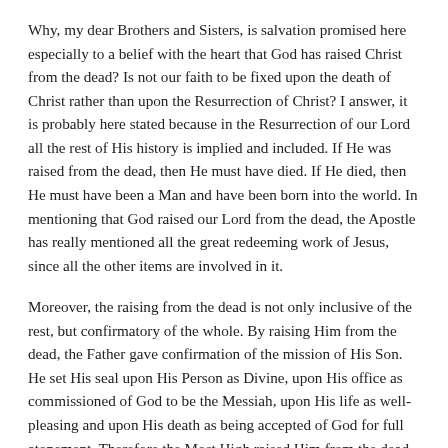Why, my dear Brothers and Sisters, is salvation promised here especially to a belief with the heart that God has raised Christ from the dead? Is not our faith to be fixed upon the death of Christ rather than upon the Resurrection of Christ? I answer, it is probably here stated because in the Resurrection of our Lord all the rest of His history is implied and included. If He was raised from the dead, then He must have died. If He died, then He must have been a Man and have been born into the world. In mentioning that God raised our Lord from the dead, the Apostle has really mentioned all the great redeeming work of Jesus, since all the other items are involved in it.
Moreover, the raising from the dead is not only inclusive of the rest, but confirmatory of the whole. By raising Him from the dead, the Father gave confirmation of the mission of His Son. He set His seal upon His Person as Divine, upon His office as commissioned of God to be the Messiah, upon His life as well-pleasing and upon His death as being accepted of God for full atonement. Therefore the Most High raised Him from the dead that He might be declared to be the Son of God with power and that, in and through Him, Believers might be justified. We would not have had firm ground for our faith in Jesus if the seal of Resurrection had not been set to His work. But now, when we believe in the seal, we believe, also, in that which is sealed. His Resurrection is the seal of all that our Lord is and does–and believing in this with our heart, we believe in that which brings salvation!